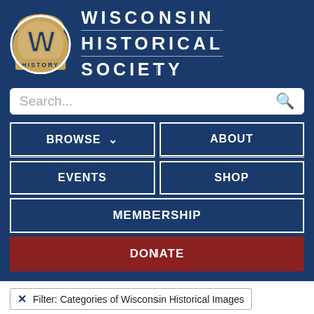[Figure (logo): Wisconsin Historical Society logo with blue W on baseball glove with 'HISTORY' text]
WISCONSIN HISTORICAL SOCIETY
Search...
BROWSE
ABOUT
EVENTS
SHOP
MEMBERSHIP
DONATE
Filter: Categories of Wisconsin Historical Images
Filter: FORMAT_DIMENSIONS of 28 x 38 inches